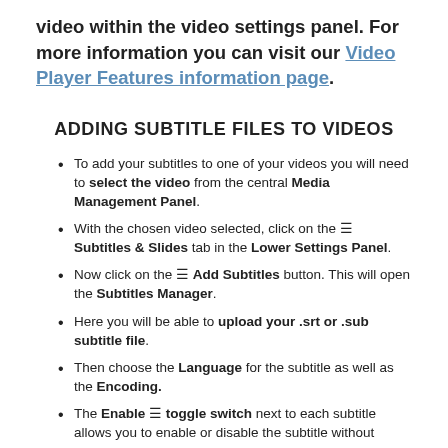video within the video settings panel. For more information you can visit our Video Player Features information page.
ADDING SUBTITLE FILES TO VIDEOS
To add your subtitles to one of your videos you will need to select the video from the central Media Management Panel.
With the chosen video selected, click on the ☰ Subtitles & Slides tab in the Lower Settings Panel.
Now click on the ☰ Add Subtitles button. This will open the Subtitles Manager.
Here you will be able to upload your .srt or .sub subtitle file.
Then choose the Language for the subtitle as well as the Encoding.
The Enable ☰ toggle switch next to each subtitle allows you to enable or disable the subtitle without